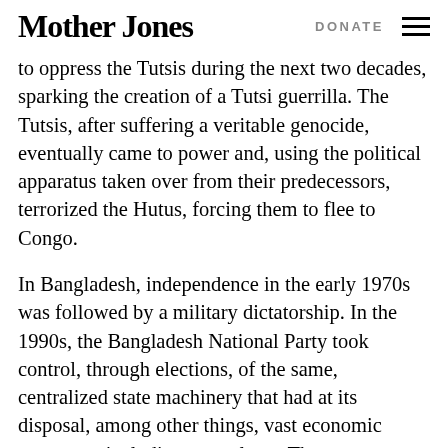Mother Jones  DONATE
to oppress the Tutsis during the next two decades, sparking the creation of a Tutsi guerrilla. The Tutsis, after suffering a veritable genocide, eventually came to power and, using the political apparatus taken over from their predecessors, terrorized the Hutus, forcing them to flee to Congo.
In Bangladesh, independence in the early 1970s was followed by a military dictatorship. In the 1990s, the Bangladesh National Party took control, through elections, of the same, centralized state machinery that had at its disposal, among other things, vast economic resources, including natural gas. The current conflict between the BNP and the Awami League L is again a struggle between two state-